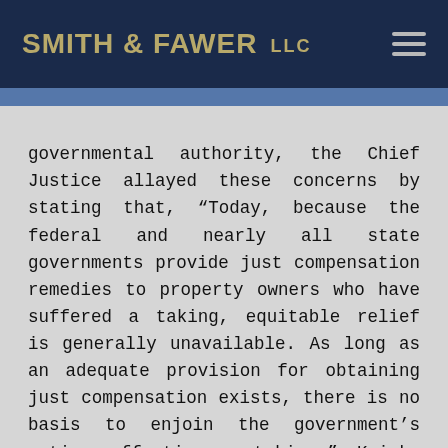SMITH & FAWER LLC
governmental authority, the Chief Justice allayed these concerns by stating that, “Today, because the federal and nearly all state governments provide just compensation remedies to property owners who have suffered a taking, equitable relief is generally unavailable. As long as an adequate provision for obtaining just compensation exists, there is no basis to enjoin the government’s action effecting a taking.” Knick, 139 S.Ct. at 2176. Thus, “Governments need not fear that our holding will lead federal courts to invalidate their regulations as unconstitutional. As long as just compensation remedies are available –